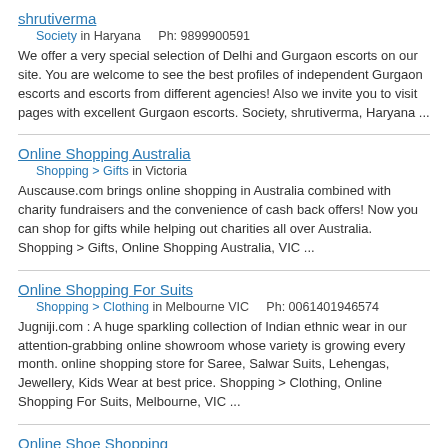shrutiverma
Society in Haryana    Ph: 9899900591
We offer a very special selection of Delhi and Gurgaon escorts on our site. You are welcome to see the best profiles of independent Gurgaon escorts and escorts from different agencies! Also we invite you to visit pages with excellent Gurgaon escorts. Society, shrutiverma, Haryana ...
Online Shopping Australia
Shopping > Gifts in Victoria
Auscause.com brings online shopping in Australia combined with charity fundraisers and the convenience of cash back offers! Now you can shop for gifts while helping out charities all over Australia. Shopping > Gifts, Online Shopping Australia, VIC ...
Online Shopping For Suits
Shopping > Clothing in Melbourne VIC    Ph: 0061401946574
Jugniji.com : A huge sparkling collection of Indian ethnic wear in our attention-grabbing online showroom whose variety is growing every month. online shopping store for Saree, Salwar Suits, Lehengas, Jewellery, Kids Wear at best price. Shopping > Clothing, Online Shopping For Suits, Melbourne, VIC ...
Online Shoe Shopping
Shoe Shopping in Melbourne    Ph: 0411039166